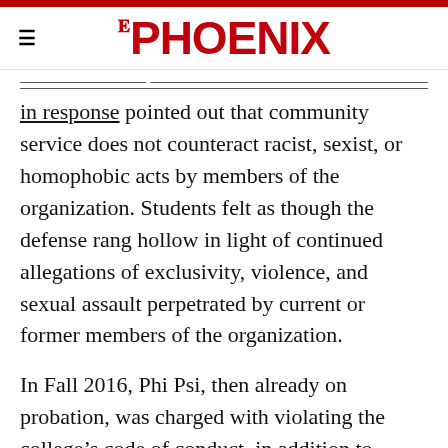THE PHOENIX
in response pointed out that community service does not counteract racist, sexist, or homophobic acts by members of the organization. Students felt as though the defense rang hollow in light of continued allegations of exclusivity, violence, and sexual assault perpetrated by current or former members of the organization.
In Fall 2016, Phi Psi, then already on probation, was charged with violating the college’s code of conduct, in addition to substance and social event management policies. The fraternity was then suspended for the Spring and Fall 2017 semesters, including any and all events or access